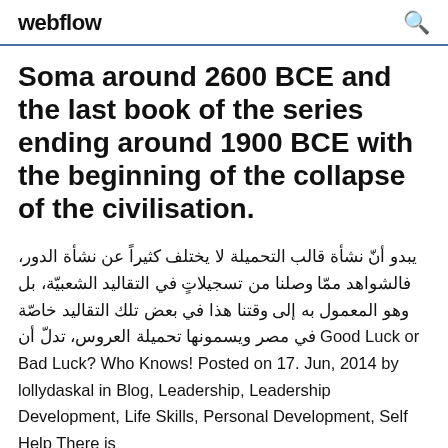webflow
Soma around 2600 BCE and the last book of the series ending around 1900 BCE with the beginning of the collapse of the civilisation.
يبدو أنّ نشأة قالب التحميلة لا يختلف كثيراً عن نشأة الدور، فالشواهد ممّا وصلنا من تسجيلاتٍ في التقاليد الشعبيّة، بل وهو المعمول به إلى وقتنا هذا في بعض تلك التقاليد خاصّة في مصر ويسمونها تحميلة العروس، تدلّ أن Good Luck or Bad Luck? Who Knows! Posted on 17. Jun, 2014 by lollydaskal in Blog, Leadership, Leadership Development, Life Skills, Personal Development, Self Help There is